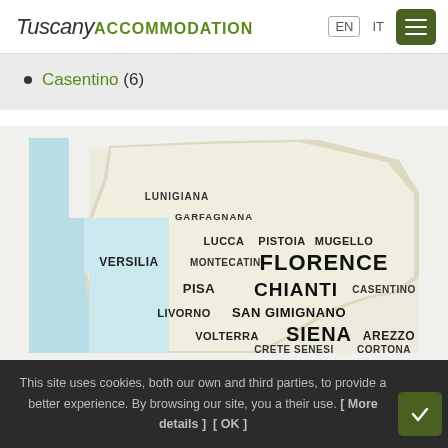Tuscany ACCOMMODATION  EN  IT
Casentino (6)
[Figure (map): Interactive map of Tuscany regions showing: LUNIGIANA, GARFAGNANA, LUCCA, PISTOIA, MUGELLO, VERSILIA, MONTECATINI, FLORENCE, PISA, CHIANTI, CASENTINO, LIVORNO, SAN GIMIGNANO, VOLTERRA, SIENA, AREZZO, CRETE SENESI, CORTONA]
This site uses cookies, both our own and third parties, to provide a better experience. By browsing our site, you a... their use. [ More details ]  [ OK ]